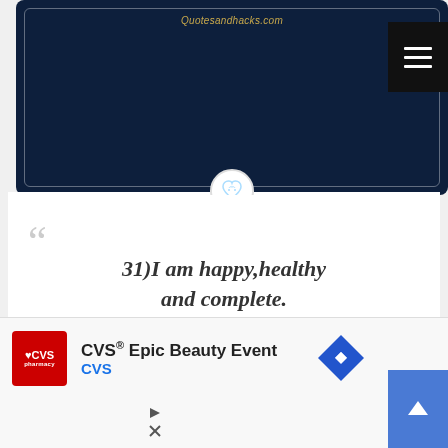[Figure (screenshot): Dark navy blue card with rounded corners, white inner border, site URL 'Quotesandhacks.com' in gold italic text at top, hamburger menu button (black with three white lines) at top right, small circular heart logo icon at bottom center]
31)I am happy,healthy and complete.
[Figure (screenshot): Dark navy blue card at bottom, partially visible, with rounded corners and white inner border]
[Figure (screenshot): Advertisement bar: CVS pharmacy logo (red square with heart and text), CVS Epic Beauty Event advertisement with blue CVS text, diamond-shaped blue arrow icon, blue scroll-to-top button with up arrow, and ad control icons (play/close)]